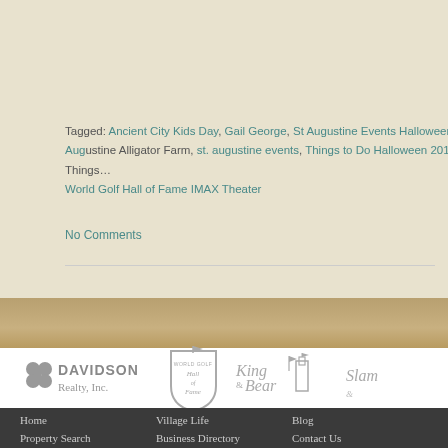[Figure (illustration): Zoo or wildlife park promotional image with dark background, trees, and a green sign reading 'The Zoo for You!']
Tagged: Ancient City Kids Day, Gail George, St Augustine Events Halloween, St Augustine Alligator Farm, st. augustine events, Things to Do Halloween 2017, Things… World Golf Hall of Fame IMAX Theater
No Comments
[Figure (logo): Davidson Realty, Inc. logo in gray]
[Figure (logo): World Golf Hall of Fame shield logo in gray]
[Figure (logo): King & Bear logo in gray]
[Figure (logo): Slammer & Squire (or similar) logo in gray, partially visible]
Home   Village Life   Blog   Property Search   Business Directory   Contact Us